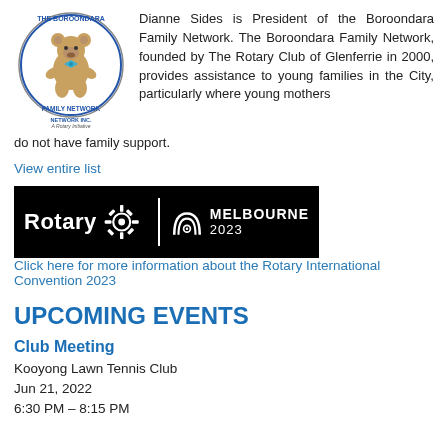[Figure (logo): The Boroondara Family Network Inc. logo — circular badge with a teddy bear and text 'THE BOROONDARA FAMILY NETWORK INC.' and 'A Rotary Initiative' below]
Dianne Sides is President of the Boroondara Family Network. The Boroondara Family Network, founded by The Rotary Club of Glenferrie in 2000, provides assistance to young families in the City, particularly where young mothers do not have family support.
View entire list
[Figure (logo): Rotary Melbourne 2023 banner — black background with white Rotary text, gear logo, vertical divider, arch/rainbow icon, and MELBOURNE 2023 text]
Click here for more information about the Rotary International Convention 2023
UPCOMING EVENTS
Club Meeting
Kooyong Lawn Tennis Club
Jun 21, 2022
6:30 PM – 8:15 PM